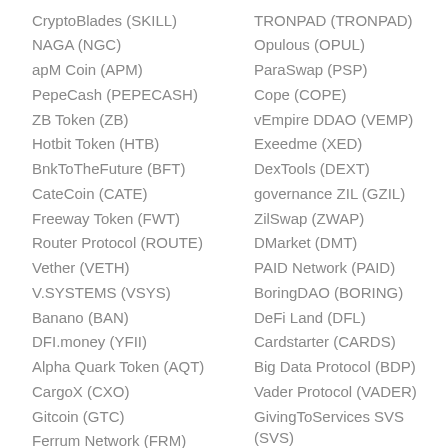CryptoBlades (SKILL)
NAGA (NGC)
apM Coin (APM)
PepeCash (PEPECASH)
ZB Token (ZB)
Hotbit Token (HTB)
BnkToTheFuture (BFT)
CateCoin (CATE)
Freeway Token (FWT)
Router Protocol (ROUTE)
Vether (VETH)
V.SYSTEMS (VSYS)
Banano (BAN)
DFI.money (YFII)
Alpha Quark Token (AQT)
CargoX (CXO)
Gitcoin (GTC)
Ferrum Network (FRM)
LGO Token (LGO)
TRONPAD (TRONPAD)
Opulous (OPUL)
ParaSwap (PSP)
Cope (COPE)
vEmpire DDAO (VEMP)
Exeedme (XED)
DexTools (DEXT)
governance ZIL (GZIL)
ZilSwap (ZWAP)
DMarket (DMT)
PAID Network (PAID)
BoringDAO (BORING)
DeFi Land (DFL)
Cardstarter (CARDS)
Big Data Protocol (BDP)
Vader Protocol (VADER)
GivingToServices SVS (SVS)
Instadapp ETH (IETH)